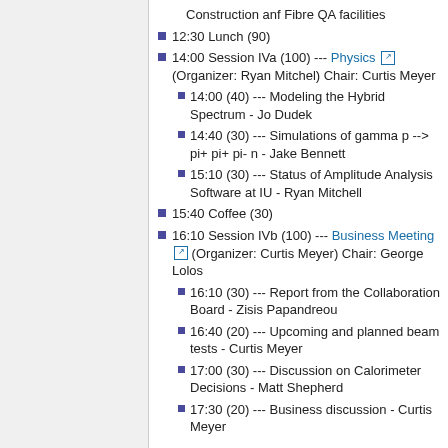Construction anf Fibre QA facilities
12:30 Lunch (90)
14:00 Session IVa (100) --- Physics (Organizer: Ryan Mitchel) Chair: Curtis Meyer
14:00 (40) --- Modeling the Hybrid Spectrum - Jo Dudek
14:40 (30) --- Simulations of gamma p --> pi+ pi+ pi- n - Jake Bennett
15:10 (30) --- Status of Amplitude Analysis Software at IU - Ryan Mitchell
15:40 Coffee (30)
16:10 Session IVb (100) --- Business Meeting (Organizer: Curtis Meyer) Chair: George Lolos
16:10 (30) --- Report from the Collaboration Board - Zisis Papandreou
16:40 (20) --- Upcoming and planned beam tests - Curtis Meyer
17:00 (30) --- Discussion on Calorimeter Decisions - Matt Shepherd
17:30 (20) --- Business discussion - Curtis Meyer